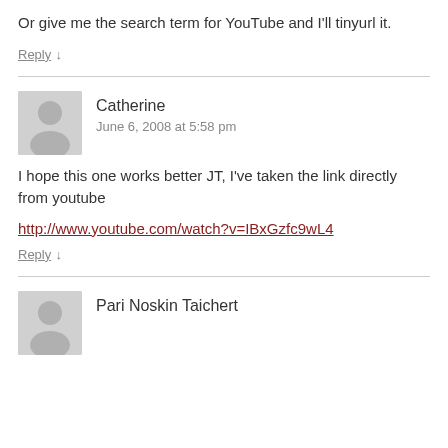Or give me the search term for YouTube and I'll tinyurl it.
Reply ↓
Catherine
June 6, 2008 at 5:58 pm
I hope this one works better JT, I've taken the link directly from youtube
http://www.youtube.com/watch?v=IBxGzfc9wL4
Reply ↓
Pari Noskin Taichert